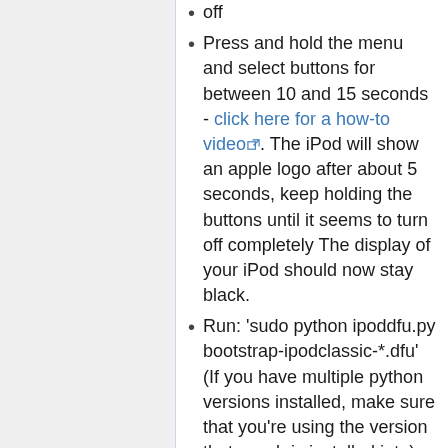off
Press and hold the menu and select buttons for between 10 and 15 seconds - click here for a how-to video. The iPod will show an apple logo after about 5 seconds, keep holding the buttons until it seems to turn off completely The display of your iPod should now stay black.
Run: 'sudo python ipoddfu.py bootstrap-ipodclassic-*.dfu' (If you have multiple python versions installed, make sure that you're using the version that pyusb is installed into)
Your iPod should now turn on and display "UMSboot." If you run 'sudo fdisk -l' a 64 MB drive will appear without partitions, for example /dev/sdb. Next create a mount point e.g. 'mkdir p...